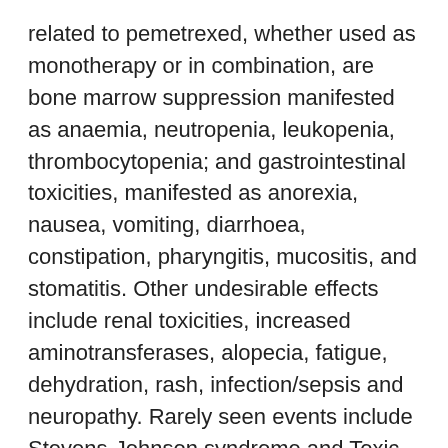related to pemetrexed, whether used as monotherapy or in combination, are bone marrow suppression manifested as anaemia, neutropenia, leukopenia, thrombocytopenia; and gastrointestinal toxicities, manifested as anorexia, nausea, vomiting, diarrhoea, constipation, pharyngitis, mucositis, and stomatitis. Other undesirable effects include renal toxicities, increased aminotransferases, alopecia, fatigue, dehydration, rash, infection/sepsis and neuropathy. Rarely seen events include Stevens-Johnson syndrome and Toxic epidermal necrolysis.
Tabulated list of adverse reactions
The table below provides the frequency and severity of undesirable effects that have been reported in ≥ 5% of 168 patients with mesothelioma